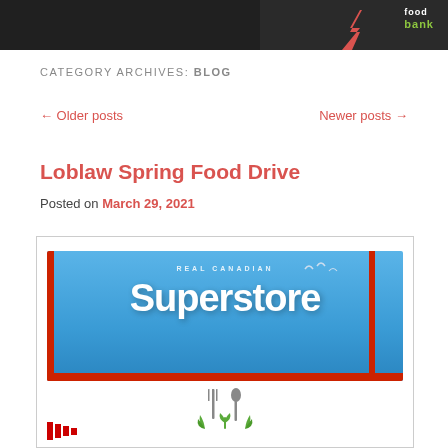food bank
CATEGORY ARCHIVES: BLOG
← Older posts    Newer posts →
Loblaw Spring Food Drive
Posted on March 29, 2021
[Figure (photo): Real Canadian Superstore building sign with blue facade and red stripe, plus a food drive logo with fork and spoon with leaves]